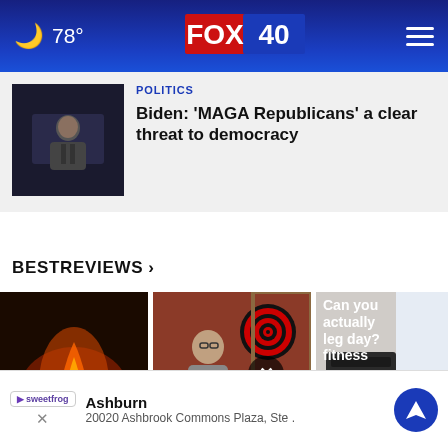🌙 78° | FOX 40
[Figure (screenshot): News thumbnail showing Biden speaking at a podium]
POLITICS
Biden: 'MAGA Republicans' a clear threat to democracy
BESTREVIEWS ›
[Figure (photo): Mesa Tabletop Fire pit with flames, dark background]
Mesa Tabletop Fire...
[Figure (photo): Man playing darts in a game room]
Throw a Labor...
[Figure (photo): Gym equipment, treadmill near window]
Can you actually...leg day?...fitness
[Figure (screenshot): Ad banner: Ashburn - 20020 Ashbrook Commons Plaza, Ste. with SweetFrog logo and navigation icon]